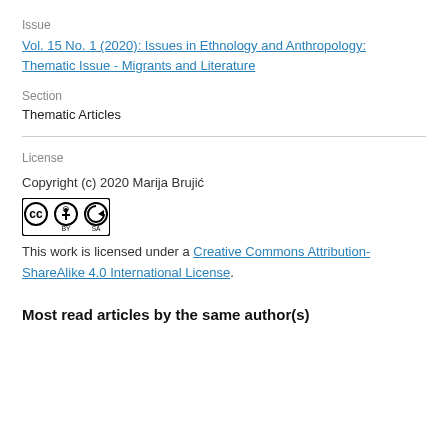Issue
Vol. 15 No. 1 (2020): Issues in Ethnology and Anthropology: Thematic Issue - Migrants and Literature
Section
Thematic Articles
License
Copyright (c) 2020 Marija Brujić
[Figure (logo): Creative Commons BY-SA license badge]
This work is licensed under a Creative Commons Attribution-ShareAlike 4.0 International License.
Most read articles by the same author(s)